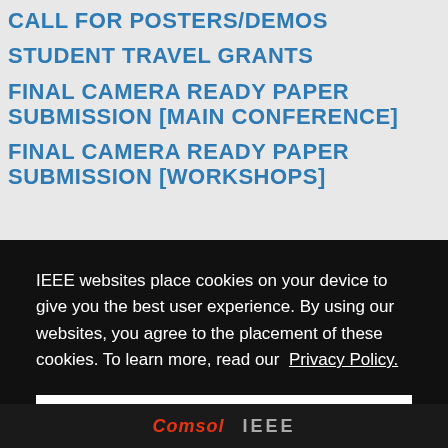CALL FOR POSTERS/DEMOS
STUDENT TRAVEL GRANTS
FINAL CAMERA READY PAPER SUBMISSION [MAIN CONFERENCE]
FINAL CAMERA READY PAPER SUBMISSION [WORKSHOPS]
IEEE websites place cookies on your device to give you the best user experience. By using our websites, you agree to the placement of these cookies. To learn more, read our Privacy Policy.
Accept & Close
ite ot-for- ssional fit of
[Figure (logo): Comsol and IEEE logos at bottom of page]